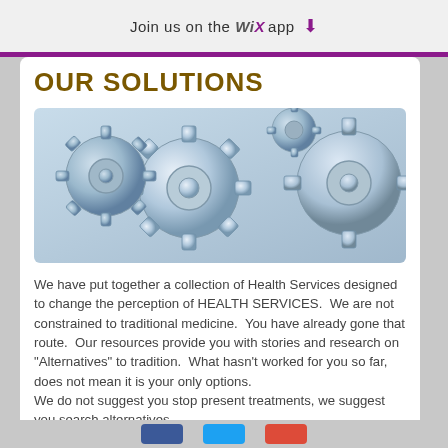Join us on the WiX app ⬇
OUR SOLUTIONS
[Figure (photo): Close-up photograph of metallic interlocking gears/cogs against a light blue background]
We have put together a collection of Health Services designed to change the perception of HEALTH SERVICES. We are not constrained to traditional medicine. You have already gone that route. Our resources provide you with stories and research on "Alternatives" to tradition. What hasn't worked for you so far, does not mean it is your only options.
We do not suggest you stop present treatments, we suggest you search alternatives.